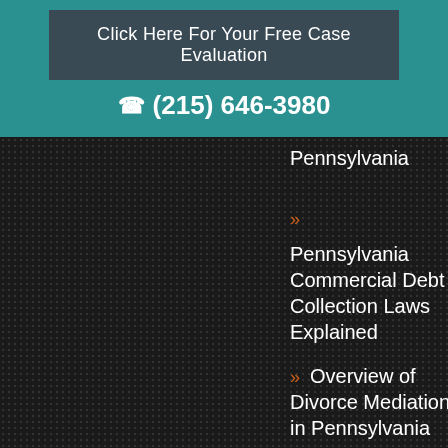Click Here For Your Free Case Evaluation
(215) 646-3980
Pennsylvania
» Pennsylvania Commercial Debt Collection Laws Explained
» Overview of Divorce Mediation in Pennsylvania
» What is Considered